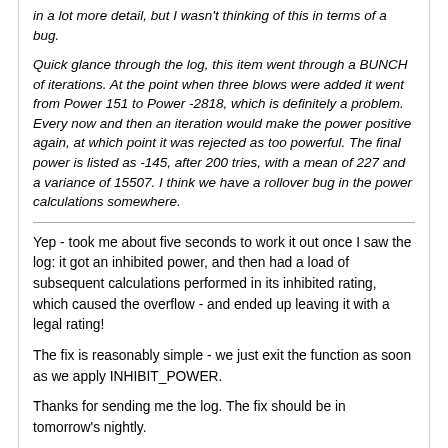in a lot more detail, but I wasn't thinking of this in terms of a bug.

Quick glance through the log, this item went through a BUNCH of iterations. At the point when three blows were added it went from Power 151 to Power -2818, which is definitely a problem. Every now and then an iteration would make the power positive again, at which point it was rejected as too powerful. The final power is listed as -145, after 200 tries, with a mean of 227 and a variance of 15507. I think we have a rollover bug in the power calculations somewhere.
Yep - took me about five seconds to work it out once I saw the log: it got an inhibited power, and then had a load of subsequent calculations performed in its inhibited rating, which caused the overflow - and ended up leaving it with a legal rating!

The fix is reasonably simple - we just exit the function as soon as we apply INHIBIT_POWER.

Thanks for sending me the log. The fix should be in tomorrow's nightly.
Estie
April 24, 2011 02:48
So my prayers have been heard:

The Great Hammer of Epheleme (8d1) (+11,+5) (+9)